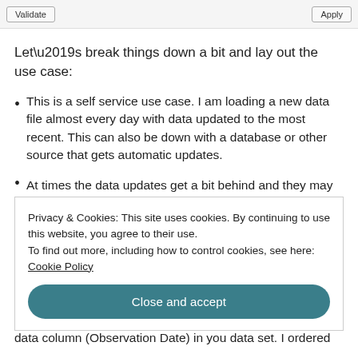Validate | Apply
Let’s break things down a bit and lay out the use case:
This is a self service use case. I am loading a new data file almost every day with data updated to the most recent. This can also be down with a database or other source that gets automatic updates.
At times the data updates get a bit behind and they may not have the latest data. Using today – 1 day or
Privacy & Cookies: This site uses cookies. By continuing to use this website, you agree to their use.
To find out more, including how to control cookies, see here: Cookie Policy
[Close and accept]
data column (Observation Date) in you data set. I ordered